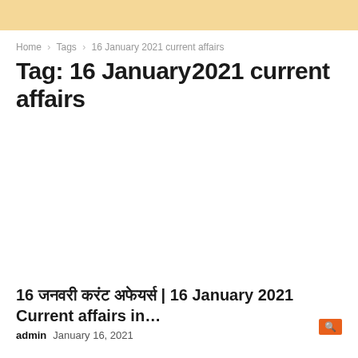Home › Tags › 16 January 2021 current affairs
Tag: 16 January 2021 current affairs
[Figure (other): Advertisement or blank placeholder area]
16 जनवरी करंट अफेयर्स | 16 January 2021 Current affairs in…
admin   January 16, 2021